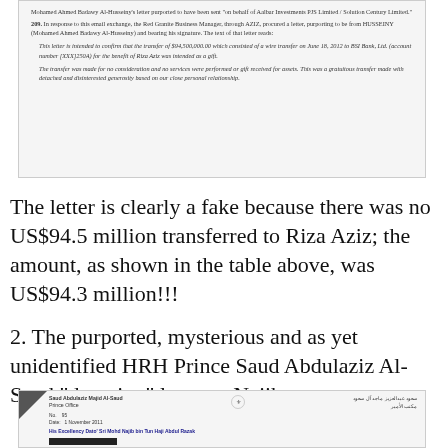[Figure (screenshot): Scanned document excerpt showing paragraph 209 describing a letter procured by Red Granite Business Manager through AZIZ purporting to be from HUSSEINY, with quoted text about a $94,500,000.00 wire transfer to BSI Bank Ltd account for Riza Aziz described as a gift made for no consideration.]
The letter is clearly a fake because there was no US$94.5 million transferred to Riza Aziz; the amount, as shown in the table above, was US$94.3 million!!!
2. The purported, mysterious and as yet unidentified HRH Prince Saud Abdulaziz Al-Saud "donation" letter to Najib.
[Figure (screenshot): Scanned letter document with Saudi royal emblem, from Saud Abdulaziz Majid Al-Saud, Prince Office, dated 1 November 2011, addressed to His Excellency Dato Sri Mohd Najib bin Tun Haji Abdul Razak, with a redacted section, regarding Recognition of Significant Contribution to the Islamic World.]